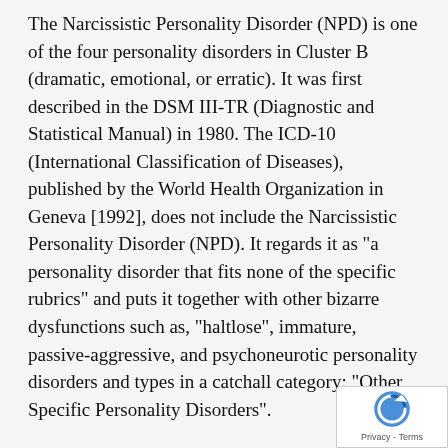The Narcissistic Personality Disorder (NPD) is one of the four personality disorders in Cluster B (dramatic, emotional, or erratic). It was first described in the DSM III-TR (Diagnostic and Statistical Manual) in 1980. The ICD-10 (International Classification of Diseases), published by the World Health Organization in Geneva [1992], does not include the Narcissistic Personality Disorder (NPD). It regards it as "a personality disorder that fits none of the specific rubrics" and puts it together with other bizarre dysfunctions such as, "haltlose", immature, passive-aggressive, and psychoneurotic personality disorders and types in a catchall category: "Other Specific Personality Disorders".
The Diagnostic and Statistical Manual of Mental Disorders, fourth edition, Text Revision (DSM-IV-TR) [2000], published by the American Psychiatric Association, based in Washington D.C., USA, provides diagnostic criteria for the Narcissistic Personality